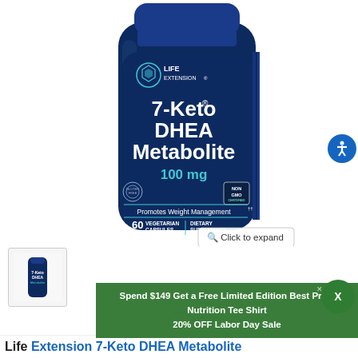[Figure (photo): Product photo of Life Extension 7-Keto DHEA Metabolite 100mg, 60 vegetarian capsules dietary supplement bottle in dark blue/navy color with teal and white text. Shows Life Extension logo, product name, NON GMO badge, 'Promotes Weight Management' tagline.]
[Figure (photo): Small thumbnail image of the same Life Extension 7-Keto DHEA Metabolite product bottle.]
Spend $149 Get a Free Limited Edition Best Price Nutrition Tee Shirt
20% OFF Labor Day Sale
Life Extension 7-Keto DHEA Metabolite